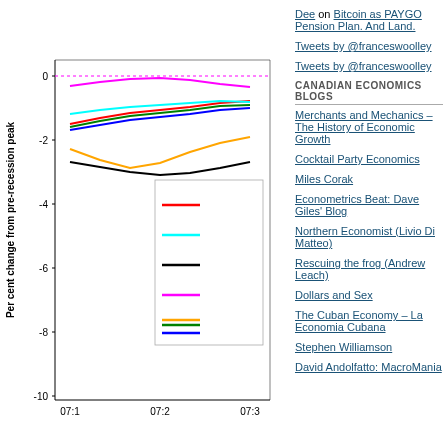[Figure (line-chart): Multi-series line chart showing per cent change from pre-recession peak over time periods 07:1, 07:2, 07:3. Series include red, cyan, black, magenta, orange, green, and blue lines. Legend box shown within chart. Y-axis ranges from about -10 to 0.]
Dee on Bitcoin as PAYGO Pension Plan. And Land.
Tweets by @franceswoolley
Tweets by @franceswoolley
CANADIAN ECONOMICS BLOGS
Merchants and Mechanics – The History of Economic Growth
Cocktail Party Economics
Miles Corak
Econometrics Beat: Dave Giles' Blog
Northern Economist (Livio Di Matteo)
Rescuing the frog (Andrew Leach)
Dollars and Sex
The Cuban Economy – La Economia Cubana
Stephen Williamson
David Andolfatto: MacroMania